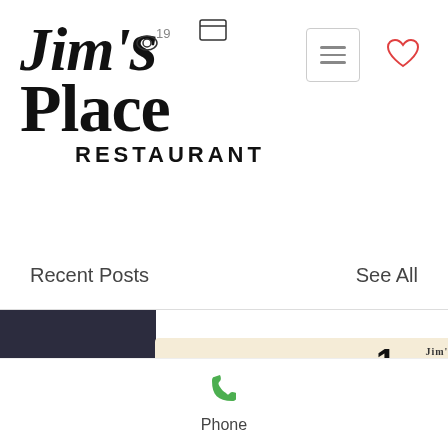[Figure (logo): Jim's Place Restaurant logo in bold serif font with eye icon and number 19]
[Figure (screenshot): Hamburger menu icon in a rounded rectangle border]
[Figure (other): Red heart/favorite icon]
Recent Posts
See All
[Figure (screenshot): Jim's Place Weekly Specials promotional card showing 1/13/2020 - 1/18/2020 with food photo of fried items]
1/13/2020-
1/19/2020
Phone